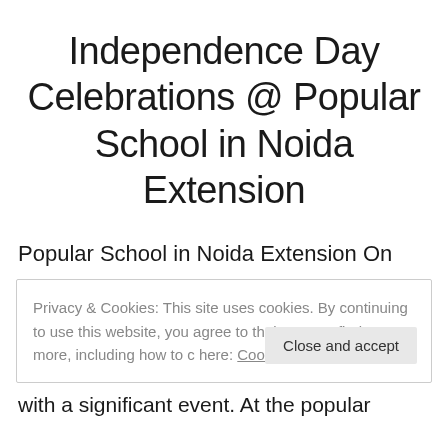Independence Day Celebrations @ Popular School in Noida Extension
Popular School in Noida Extension On
Privacy & Cookies: This site uses cookies. By continuing to use this website, you agree to their use. To find out more, including how to c here: Cookie Policy   Close and accept
with a significant event. At the popular